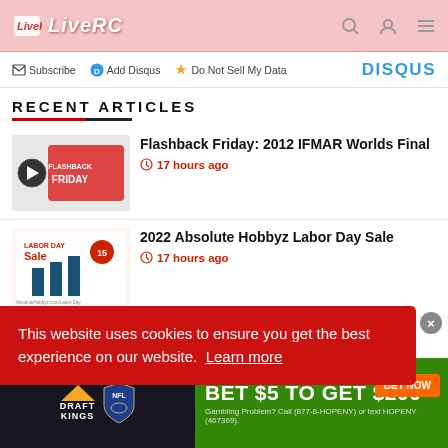LiveRC
Subscribe  Add Disqus  Do Not Sell My Data  DISQUS
RECENT ARTICLES
Flashback Friday: 2012 IFMAR Worlds Final — 17 hours ago
2022 Absolute Hobbyz Labor Day Sale — 17 hours ago
This website uses cookies to ensure you get the best experience on our website. Learn more
[Figure (infographic): DraftKings NFL advertisement banner: BET $5 TO GET $200 with BET NOW button. Gambling Problem? Call (877-8-HOPENY) or text HOPENY (467369).]